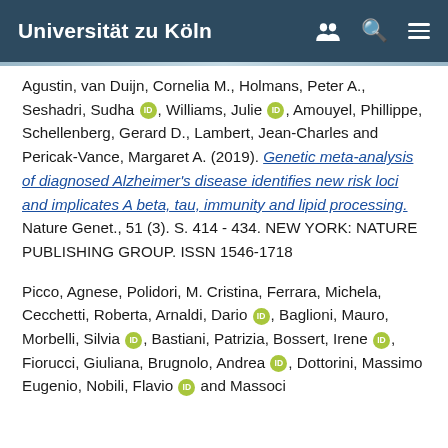Universität zu Köln
Agustin, van Duijn, Cornelia M., Holmans, Peter A., Seshadri, Sudha [orcid], Williams, Julie [orcid], Amouyel, Phillippe, Schellenberg, Gerard D., Lambert, Jean-Charles and Pericak-Vance, Margaret A. (2019). Genetic meta-analysis of diagnosed Alzheimer's disease identifies new risk loci and implicates A beta, tau, immunity and lipid processing. Nature Genet., 51 (3). S. 414 - 434. NEW YORK: NATURE PUBLISHING GROUP. ISSN 1546-1718
Picco, Agnese, Polidori, M. Cristina, Ferrara, Michela, Cecchetti, Roberta, Arnaldi, Dario [orcid], Baglioni, Mauro, Morbelli, Silvia [orcid], Bastiani, Patrizia, Bossert, Irene [orcid], Fiorucci, Giuliana, Brugnolo, Andrea [orcid], Dottorini, Massimo Eugenio, Nobili, Flavio [orcid] and Massoci...